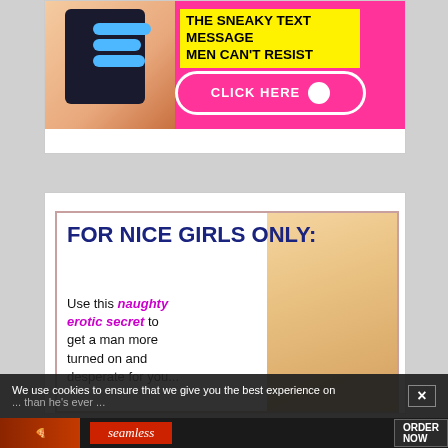[Figure (illustration): Advertisement banner: phone with text message bubbles on left, yellow text box reading 'THE SNEAKY TEXT MESSAGE MEN CAN'T RESIST', pink button reading 'CLICK HERE' with arrow]
[Figure (illustration): Advertisement: 'FOR NICE GIRLS ONLY:' in dark blue bold text. Body text: 'Use this naughty erotic secret to get a man more turned on and desperate for you... than he’s ever...' with woman's face (blonde) visible on right side, pink border frame]
We use cookies to ensure that we give you the best experience on
[Figure (illustration): Seamless food delivery advertisement banner with pizza image, red Seamless button, and 'ORDER NOW' button]